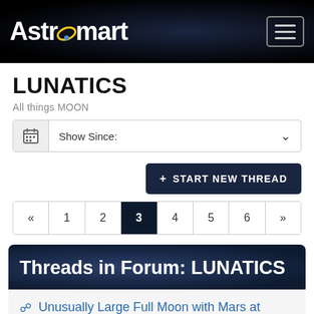Astromart
LUNATICS
All things MOON
Show Since:
+ START NEW THREAD
« 1 2 3 4 5 6 »
Threads in Forum: LUNATICS
Unusually Large Full Moon with Mars at Opposition